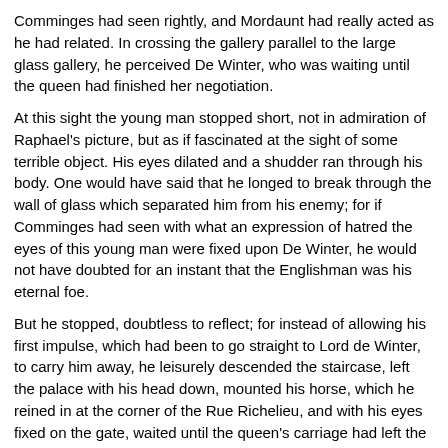Comminges had seen rightly, and Mordaunt had really acted as he had related. In crossing the gallery parallel to the large glass gallery, he perceived De Winter, who was waiting until the queen had finished her negotiation.
At this sight the young man stopped short, not in admiration of Raphael's picture, but as if fascinated at the sight of some terrible object. His eyes dilated and a shudder ran through his body. One would have said that he longed to break through the wall of glass which separated him from his enemy; for if Comminges had seen with what an expression of hatred the eyes of this young man were fixed upon De Winter, he would not have doubted for an instant that the Englishman was his eternal foe.
But he stopped, doubtless to reflect; for instead of allowing his first impulse, which had been to go straight to Lord de Winter, to carry him away, he leisurely descended the staircase, left the palace with his head down, mounted his horse, which he reined in at the corner of the Rue Richelieu, and with his eyes fixed on the gate, waited until the queen's carriage had left the court.
He had not long to wait, for the queen scarcely remained a quarter of an hour with Mazarin, but this quarter of an hour of expectation appeared a century to him. At last the heavy machine, which was called a chariot in those days, came out, rumbling against the gates, and De Winter, still on horseback, bent again to the door to converse with her majesty.
The horses started on a trot and took the road to the Louvre, which they entered. Before leaving the convent of the Carmelites, Henrietta had desired her daughter to attend her at the palace, which she had inhabited for a long time and which she had only left because their poverty seemed to them more difficult to bear in gilded chambers.